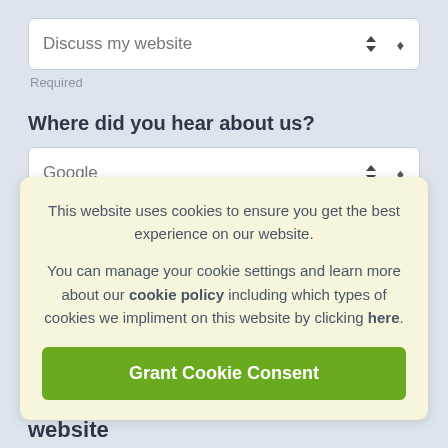Discuss my website
Required
Where did you hear about us?
Google
Required
Message
This website uses cookies to ensure you get the best experience on our website.

You can manage your cookie settings and learn more about our cookie policy including which types of cookies we impliment on this website by clicking here.
Grant Cookie Consent
website